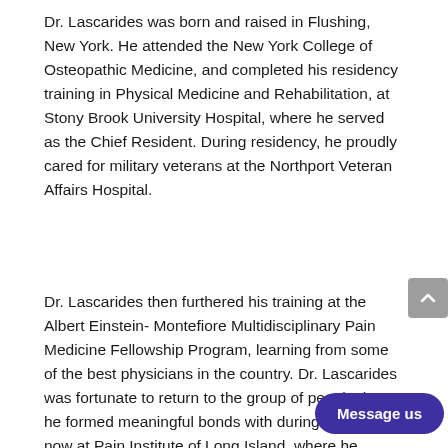Dr. Lascarides was born and raised in Flushing, New York. He attended the New York College of Osteopathic Medicine, and completed his residency training in Physical Medicine and Rehabilitation, at Stony Brook University Hospital, where he served as the Chief Resident. During residency, he proudly cared for military veterans at the Northport Veteran Affairs Hospital.
Dr. Lascarides then furthered his training at the Albert Einstein- Montefiore Multidisciplinary Pain Medicine Fellowship Program, learning from some of the best physicians in the country. Dr. Lascarides was fortunate to return to the group of people that he formed meaningful bonds with during training, now at Pain Institute of Island, where he proudly serves the Eastern Long